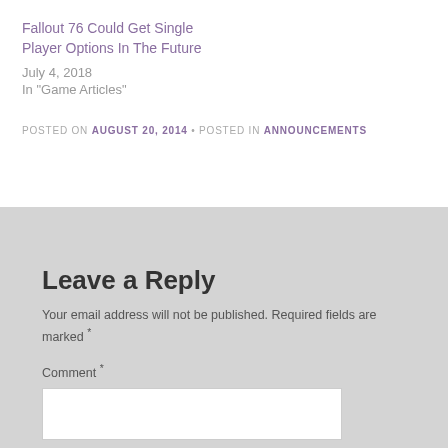Fallout 76 Could Get Single Player Options In The Future
July 4, 2018
In "Game Articles"
POSTED ON AUGUST 20, 2014 • POSTED IN ANNOUNCEMENTS
Leave a Reply
Your email address will not be published. Required fields are marked *
Comment *